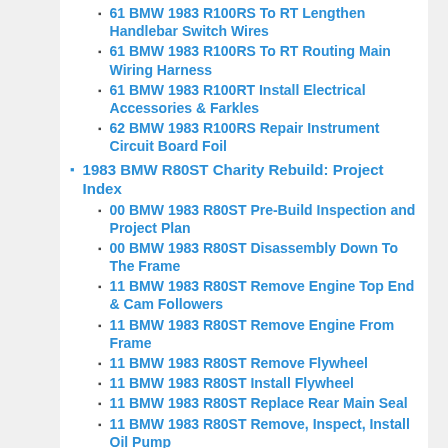61 BMW 1983 R100RS To RT Lengthen Handlebar Switch Wires
61 BMW 1983 R100RS To RT Routing Main Wiring Harness
61 BMW 1983 R100RT Install Electrical Accessories & Farkles
62 BMW 1983 R100RS Repair Instrument Circuit Board Foil
1983 BMW R80ST Charity Rebuild: Project Index
00 BMW 1983 R80ST Pre-Build Inspection and Project Plan
00 BMW 1983 R80ST Disassembly Down To The Frame
11 BMW 1983 R80ST Remove Engine Top End & Cam Followers
11 BMW 1983 R80ST Remove Engine From Frame
11 BMW 1983 R80ST Remove Flywheel
11 BMW 1983 R80ST Install Flywheel
11 BMW 1983 R80ST Replace Rear Main Seal
11 BMW 1983 R80ST Remove, Inspect, Install Oil Pump